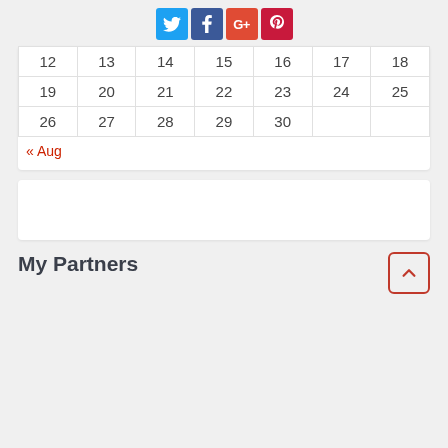[Figure (infographic): Social sharing icons: Twitter (blue), Facebook (dark blue), Google+ (red), Pinterest (dark red)]
| 12 | 13 | 14 | 15 | 16 | 17 | 18 |
| 19 | 20 | 21 | 22 | 23 | 24 | 25 |
| 26 | 27 | 28 | 29 | 30 |  |  |
« Aug
My Partners